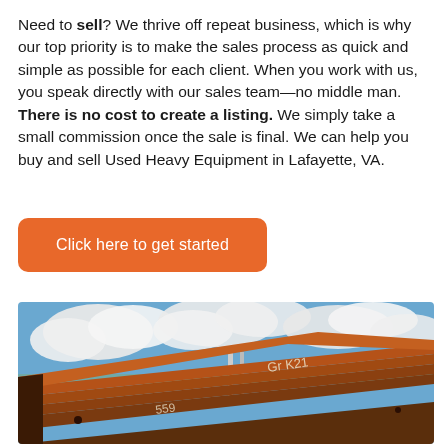Need to sell? We thrive off repeat business, which is why our top priority is to make the sales process as quick and simple as possible for each client. When you work with us, you speak directly with our sales team—no middle man. There is no cost to create a listing. We simply take a small commission once the sale is final. We can help you buy and sell Used Heavy Equipment in Lafayette, VA.
Click here to get started
[Figure (photo): Outdoor photo of stacked rusty steel I-beams or metal plates with handwritten chalk markings, photographed against a partly cloudy blue sky.]